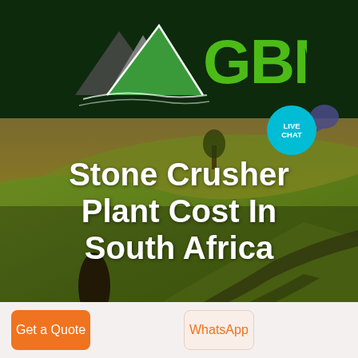[Figure (logo): GBM company logo with mountain/arrow icon on dark green background]
[Figure (photo): Aerial landscape photo of green rolling fields with a dark figure and a distant tree, warm golden-green tones]
Stone Crusher Plant Cost In South Africa
Get a Quote
WhatsApp